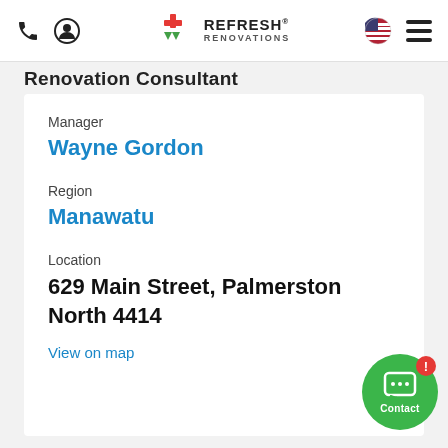Refresh Renovations — navigation bar with phone, user, logo, flag, and menu icons
Renovation Consultant
Manager
Wayne Gordon
Region
Manawatu
Location
629 Main Street, Palmerston North 4414
View on map